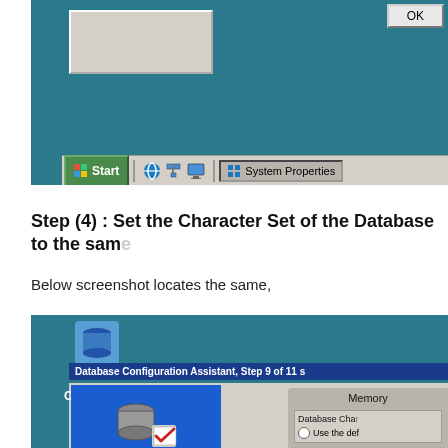[Figure (screenshot): Windows taskbar screenshot showing Start button, IE icon, network icon, and System Properties window button on a teal desktop background with an OK button visible in a dialog]
Step (4) : Set the Character Set of the Database to the same
Below screenshot locates the same,
[Figure (screenshot): Database Configuration Assistant Step 9 of 11 screenshot showing Memory tab and Database Character Set section with 'Use the def' radio option visible, and a database icon on blue background with a checkmark]